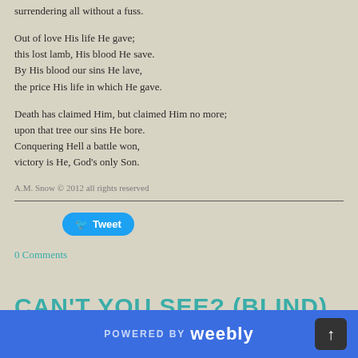surrendering all without a fuss.
Out of love His life He gave;
this lost lamb, His blood He save.
By His blood our sins He lave,
the price His life in which He gave.
Death has claimed Him, but claimed Him no more;
upon that tree our sins He bore.
Conquering Hell a battle won,
victory is He, God's only Son.
A.M. Snow © 2012 all rights reserved
[Figure (other): Twitter Tweet button in cyan/blue rounded rectangle]
0 Comments
CAN'T YOU SEE? (BLIND)
4/13/2014
POWERED BY weebly